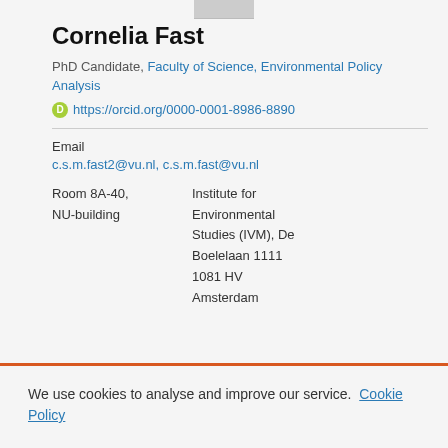[Figure (photo): Partial photo of Cornelia Fast at top of page]
Cornelia Fast
PhD Candidate, Faculty of Science, Environmental Policy Analysis
https://orcid.org/0000-0001-8986-8890
Email
c.s.m.fast2@vu.nl, c.s.m.fast@vu.nl
Room 8A-40, NU-building
Institute for Environmental Studies (IVM), De Boelelaan 1111
1081 HV
Amsterdam
We use cookies to analyse and improve our service. Cookie Policy